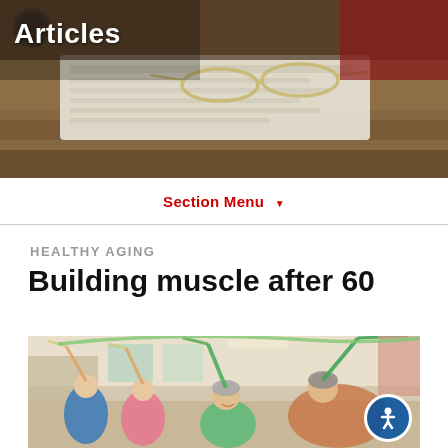[Figure (photo): Header photo showing glasses resting on a newspaper/document on a wooden desk with a watch visible, soft focus background]
Articles
Section Menu ▼
HEALTHY AGING
Building muscle after 60
[Figure (photo): Group of elderly seniors exercising with resistance bands in a gym or community center, lifting arms overhead, smiling]